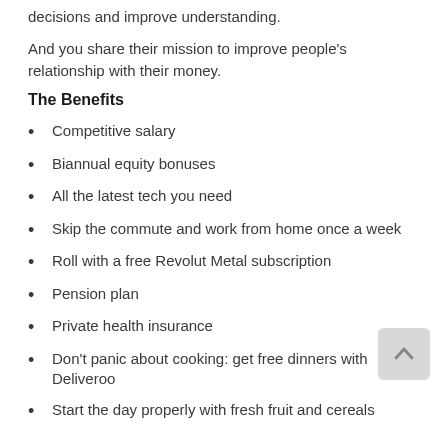decisions and improve understanding.
And you share their mission to improve people's relationship with their money.
The Benefits
Competitive salary
Biannual equity bonuses
All the latest tech you need
Skip the commute and work from home once a week
Roll with a free Revolut Metal subscription
Pension plan
Private health insurance
Don't panic about cooking: get free dinners with Deliveroo
Start the day properly with fresh fruit and cereals